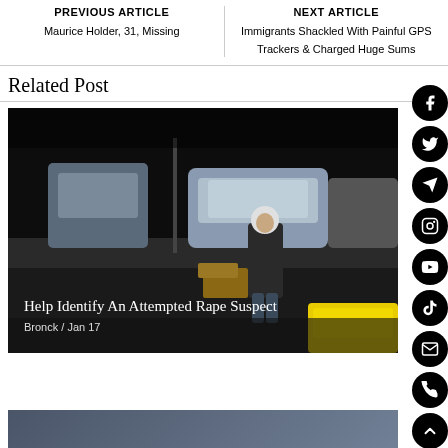PREVIOUS ARTICLE
Maurice Holder, 31, Missing
NEXT ARTICLE
Immigrants Shackled With Painful GPS Trackers & Charged Huge Sums
Related Post
[Figure (photo): Night surveillance camera footage showing a person in a hoodie and dark jacket standing on a sidewalk with parked cars, including a white SUV, in the background. A yellow car is visible at bottom right.]
Help Identify An Attempted Rape Suspect
Bronck / Jan 17
[Figure (photo): Partial thumbnail of another article image at the bottom of the page]